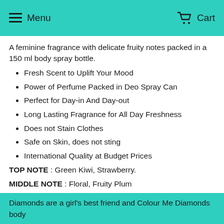Menu   Cart
A feminine fragrance with delicate fruity notes packed in a 150 ml body spray bottle.
Fresh Scent to Uplift Your Mood
Power of Perfume Packed in Deo Spray Can
Perfect for Day-in And Day-out
Long Lasting Fragrance for All Day Freshness
Does not Stain Clothes
Safe on Skin, does not sting
International Quality at Budget Prices
TOP NOTE : Green Kiwi, Strawberry.
MIDDLE NOTE : Floral, Fruity Plum
BASE NOTE : Vanilla, Amber Musk.
Diamonds are a girl's best friend and Colour Me Diamonds body